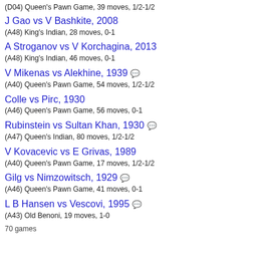(D04) Queen's Pawn Game, 39 moves, 1/2-1/2
J Gao vs V Bashkite, 2008
(A48) King's Indian, 28 moves, 0-1
A Stroganov vs V Korchagina, 2013
(A48) King's Indian, 46 moves, 0-1
V Mikenas vs Alekhine, 1939
(A40) Queen's Pawn Game, 54 moves, 1/2-1/2
Colle vs Pirc, 1930
(A46) Queen's Pawn Game, 56 moves, 0-1
Rubinstein vs Sultan Khan, 1930
(A47) Queen's Indian, 80 moves, 1/2-1/2
V Kovacevic vs E Grivas, 1989
(A40) Queen's Pawn Game, 17 moves, 1/2-1/2
Gilg vs Nimzowitsch, 1929
(A46) Queen's Pawn Game, 41 moves, 0-1
L B Hansen vs Vescovi, 1995
(A43) Old Benoni, 19 moves, 1-0
70 games